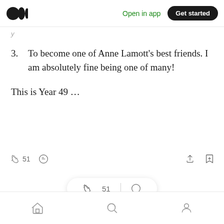Medium logo | Open in app | Get started
3. To become one of Anne Lamott's best friends. I am absolutely fine being one of many!
This is Year 49 …
[Figure (screenshot): Interaction bar with clapping icon showing 51 claps, comment icon, share icon, and bookmark icon]
[Figure (screenshot): Floating pill showing clapping icon, 51 claps count, divider, and comment icon]
Bottom navigation bar with home, search, and profile icons